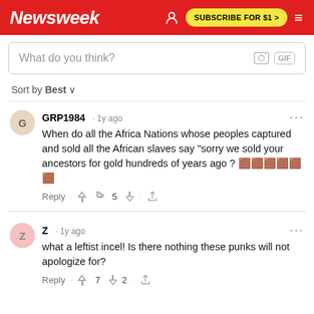Newsweek | SUBSCRIBE FOR $1 >
What do you think?
Sort by Best
GRP1984 · 1y ago
When do all the Africa Nations whose peoples captured and sold all the African slaves say "sorry we sold your ancestors for gold hundreds of years ago ? 🟫🟫🟫🟫🟫🟫
Reply · 👍 5 👎 · share
Z · 1y ago
what a leftist incel!  Is there nothing these punks will not apologize for?
Reply · 👍 7 👎 2 · share